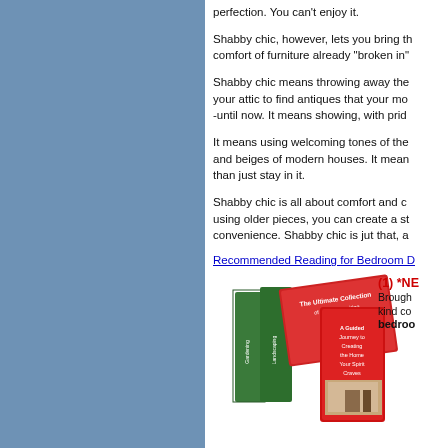perfection. You can't enjoy it.
Shabby chic, however, lets you bring the comfort of furniture already "broken in"
Shabby chic means throwing away the rules and heading up to your attic to find antiques that your mo -until now. It means showing, with pride
It means using welcoming tones of the and beiges of modern houses. It mean than just stay in it.
Shabby chic is all about comfort and c using older pieces, you can create a st convenience. Shabby chic is jut that, a
Recommended Reading for Bedroom D
[Figure (photo): Stack of home decor books including 'The Ultimate Collection of Easy & Inspiring Decor Projects', 'A Guided Journey to Creating the Home Your Spirit Craves', and 'Design Your Interior']
(1) *NE Brough kind co bedroom